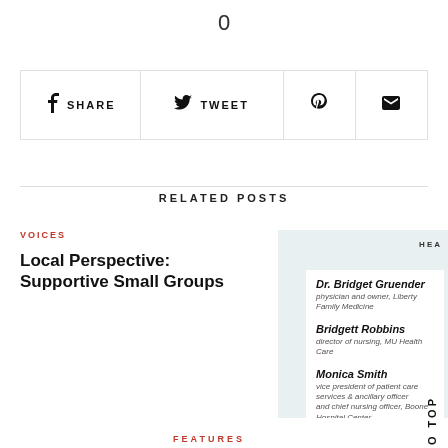0
[Figure (screenshot): Social sharing bar with Share (Facebook), Tweet (Twitter), Pinterest, and email buttons]
RELATED POSTS
VOICES
Local Perspective: Supportive Small Groups
[Figure (screenshot): Related post card with light blue background showing names: Dr. Bridget Gruender (physician and owner, Liberty Family Medicine), Bridgett Robbins (director of nursing, MU Health Care), Monica Smith (vice president of patient care services & ancillary officer and chief nursing officer, Boone Hospital Center). HEA label visible top right.]
Scroll to Top
FEATURES